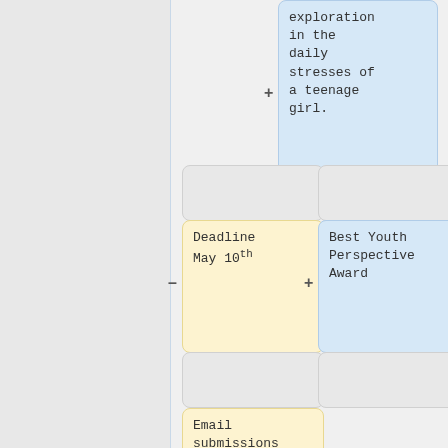exploration in the daily stresses of a teenage girl.
Deadline May 10th
Best Youth Perspective Award
Email submissions to optikalllusions@lists.riseup.net